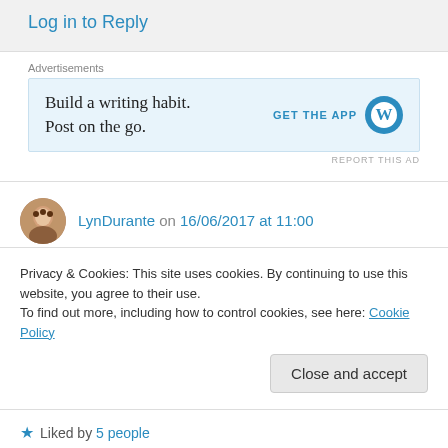Log in to Reply
Advertisements
[Figure (screenshot): WordPress advertisement banner: 'Build a writing habit. Post on the go.' with GET THE APP button and WordPress logo]
REPORT THIS AD
LynDurante on 16/06/2017 at 11:00
👍 0 👎 0 ℹ Rate This
Wow. Great work and talent. I wish you inspiration always in life's journey. (By the way,
Privacy & Cookies: This site uses cookies. By continuing to use this website, you agree to their use.
To find out more, including how to control cookies, see here: Cookie Policy
Close and accept
Liked by 5 people